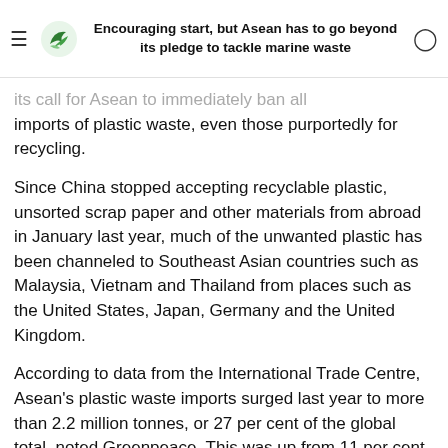Encouraging start, but Asean has to go beyond its pledge to tackle marine waste
its call for Asean to immediately ban all imports of plastic waste, even those purportedly for recycling.
Since China stopped accepting recyclable plastic, unsorted scrap paper and other materials from abroad in January last year, much of the unwanted plastic has been channeled to Southeast Asian countries such as Malaysia, Vietnam and Thailand from places such as the United States, Japan, Germany and the United Kingdom.
According to data from the International Trade Centre, Asean's plastic waste imports surged last year to more than 2.2 million tonnes, or 27 per cent of the global total, noted Greenpeace. This was up from 11 per cent of the global total in 2017, and just over 5 per cent in 2016.